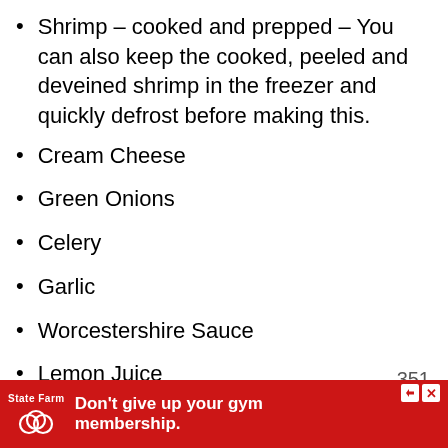Shrimp – cooked and prepped – You can also keep the cooked, peeled and deveined shrimp in the freezer and quickly defrost before making this.
Cream Cheese
Green Onions
Celery
Garlic
Worcestershire Sauce
Lemon Juice
Horseradish –
Tabasco or Sriracha sauce – use your favorite
and ... t pre...
[Figure (screenshot): State Farm advertisement banner: red background with State Farm logo (white text and overlapping circles icon) and text "Don't give up your gym membership." with close/skip buttons.]